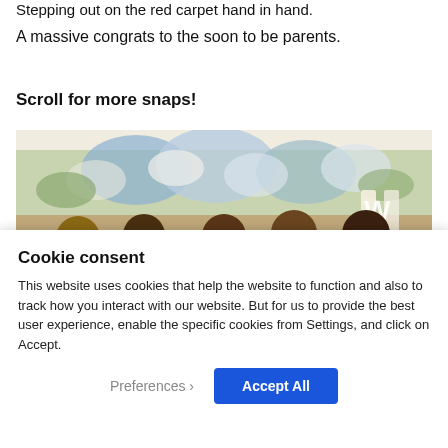Stepping out on the red carpet hand in hand.
A massive congrats to the soon to be parents.
Scroll for more snaps!
[Figure (photo): Group photo of five adults and one child posing together in front of a floral backdrop with white and blue flowers, inside a decorated tent or venue. A partially visible illuminated letter sign is visible on the right side.]
Cookie consent
This website uses cookies that help the website to function and also to track how you interact with our website. But for us to provide the best user experience, enable the specific cookies from Settings, and click on Accept.